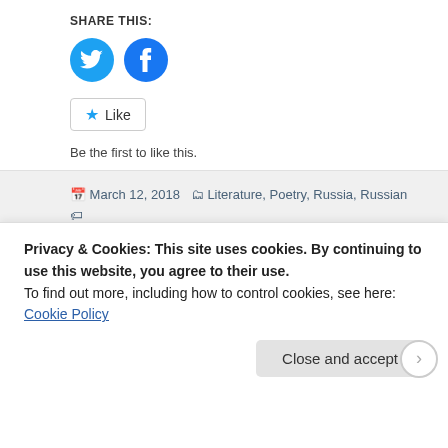SHARE THIS:
[Figure (illustration): Twitter and Facebook social share buttons as blue circular icons]
[Figure (illustration): Like button with star icon and 'Like' text, followed by 'Be the first to like this.']
Be the first to like this.
March 12, 2018   Literature, Poetry, Russia, Russian   1837, after some difficult task, afterlife, around pushkin, as if, blade of his wit, blank verse, boris dralyuk, burial, contemporary of pushkin, Dead, dead man, dead man's eyes, death, deep high thought, difficult task, Василий Андреевич, Василий Андреевич
Privacy & Cookies: This site uses cookies. By continuing to use this website, you agree to their use.
To find out more, including how to control cookies, see here: Cookie Policy
Close and accept